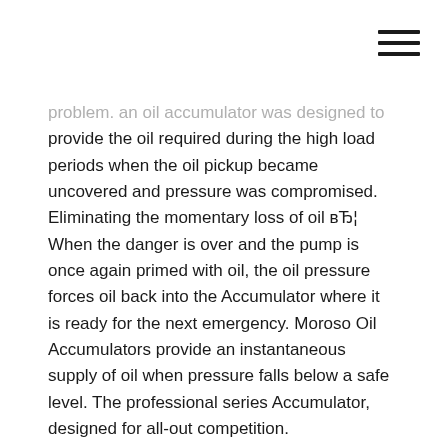[Figure (other): Hamburger menu icon — three horizontal lines in top-right corner]
problem. an oil accumulator was designed to provide the oil required during the high load periods when the oil pickup became uncovered and pressure was compromised. Eliminating the momentary loss of oil вЂ¦ When the danger is over and the pump is once again primed with oil, the oil pressure forces oil back into the Accumulator where it is ready for the next emergency. Moroso Oil Accumulators provide an instantaneous supply of oil when pressure falls below a safe level. The professional series Accumulator, designed for all-out competition.
Specification, Instructions, Reviews Features, Aluminum Construction, 710-23901 and 710-